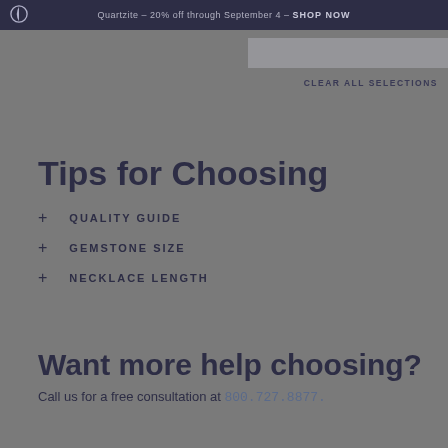Quartzite – 20% off through September 4 – SHOP NOW
CLEAR ALL SELECTIONS
Tips for Choosing
+ QUALITY GUIDE
+ GEMSTONE SIZE
+ NECKLACE LENGTH
Want more help choosing?
Call us for a free consultation at 800.727.8877.